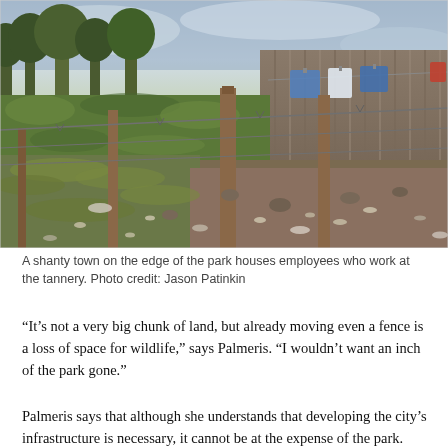[Figure (photo): A shanty town on the edge of a park, showing a dirt path with barbed wire fence posts, litter scattered on grass, corrugated metal walls with laundry hanging on a line in the background, and trees under a cloudy sky.]
A shanty town on the edge of the park houses employees who work at the tannery. Photo credit: Jason Patinkin
“It’s not a very big chunk of land, but already moving even a fence is a loss of space for wildlife,” says Palmeris. “I wouldn’t want an inch of the park gone.”
Palmeris says that although she understands that developing the city’s infrastructure is necessary, it cannot be at the expense of the park. “The